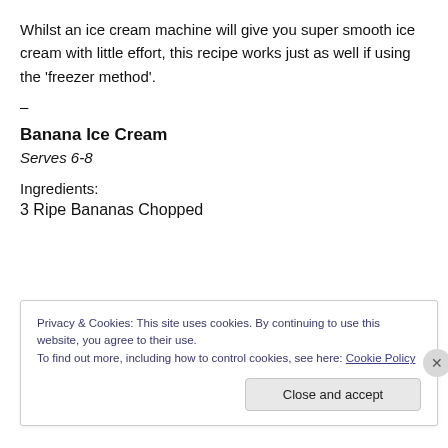Whilst an ice cream machine will give you super smooth ice cream with little effort, this recipe works just as well if using the ‘freezer method’.
–
Banana Ice Cream
Serves 6-8
Ingredients:
3 Ripe Bananas Chopped
Privacy & Cookies: This site uses cookies. By continuing to use this website, you agree to their use.
To find out more, including how to control cookies, see here: Cookie Policy
Close and accept